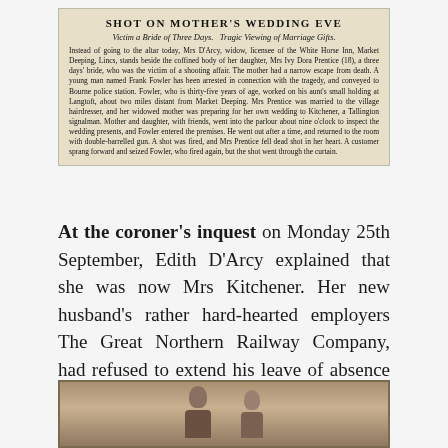[Figure (photo): Newspaper clipping with headline 'SHOT ON MOTHER'S WEDDING EVE', subheadline 'Victim a Bride of Three Days. Tragic Viewing of Marriage Gifts.' and body text describing the shooting incident involving Mrs Ivy Dora Prentice and Frank Fowler.]
At the coroner's inquest on Monday 25th September, Edith D'Arcy explained that she was now Mrs Kitchener. Her new husband's rather hard-hearted employers The Great Northern Railway Company, had refused to extend his leave of absence despite the tragedy, and so they had been married just an hour or so before arriving at the inquest. They are pictured below.
[Figure (photo): Sepia photograph of a couple, presumably Edith D'Arcy (now Mrs Kitchener) and her new husband, pictured at or near the time of the inquest.]